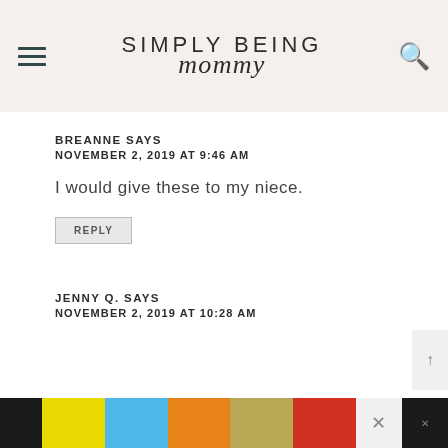SIMPLY BEING mommy
BREANNE SAYS
NOVEMBER 2, 2019 AT 9:46 AM
I would give these to my niece.
REPLY
JENNY Q. SAYS
NOVEMBER 2, 2019 AT 10:28 AM
[Figure (other): Advertisement banner: Wash Your Hands Often public health ad with hand emoji icons on colorful background]